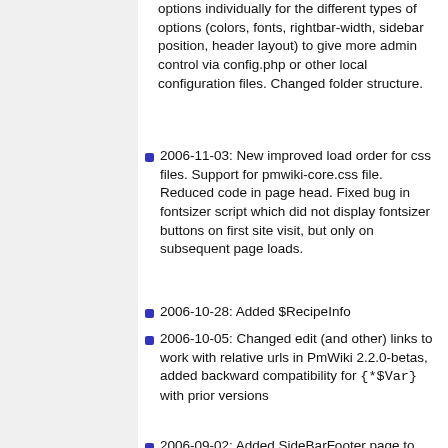options individually for the different types of options (colors, fonts, rightbar-width, sidebar position, header layout) to give more admin control via config.php or other local configuration files. Changed folder structure.
2006-11-03: New improved load order for css files. Support for pmwiki-core.css file. Reduced code in page head. Fixed bug in fontsizer script which did not display fontsizer buttons on first site visit, but only on subsequent page loads.
2006-10-28: Added $RecipeInfo
2006-10-05: Changed edit (and other) links to work with relative urls in PmWiki 2.2.0-betas, added backward compatibility for {*$Var} with prior versions
2006-09-02: Added SideBarFooter page to replace skin version info. Added page variables SkinName, SkinVersionDate, SkinVersionNum, SkinVersion (SkinName and SkinDate)